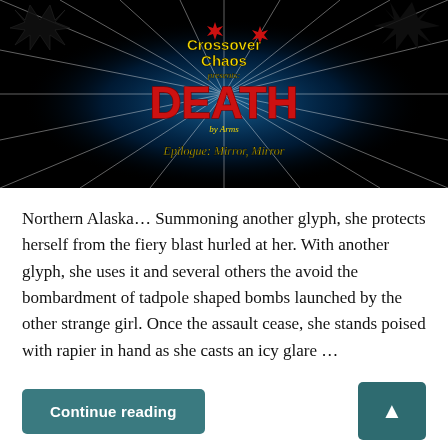[Figure (illustration): Banner image for 'Crossover Chaos Presents: Death by Arms — Epilogue: Mirror, Mirror'. Black background with radiating white lines and blue light rays, snowflake/star geometric patterns in black and white. Central text reads 'Crossover Chaos' in yellow, 'presents' in yellow italic, 'DEATH' in large red letters, 'by Arms' in small yellow text, and 'Epilogue: Mirror, Mirror' in yellow italic script at the bottom.]
Northern Alaska… Summoning another glyph, she protects herself from the fiery blast hurled at her. With another glyph, she uses it and several others the avoid the bombardment of tadpole shaped bombs launched by the other strange girl. Once the assault cease, she stands poised with rapier in hand as she casts an icy glare …
Continue reading
▲